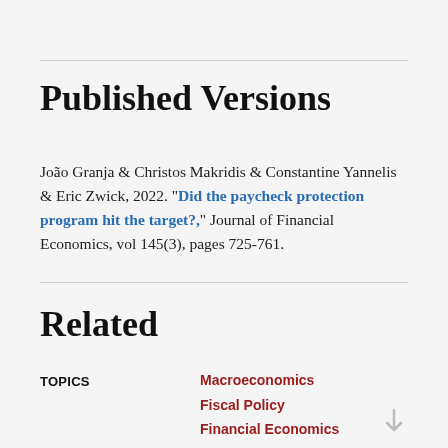Published Versions
João Granja & Christos Makridis & Constantine Yannelis & Eric Zwick, 2022. "Did the paycheck protection program hit the target?," Journal of Financial Economics, vol 145(3), pages 725-761.
Related
TOPICS
Macroeconomics
Fiscal Policy
Financial Economics
Financial Institutions